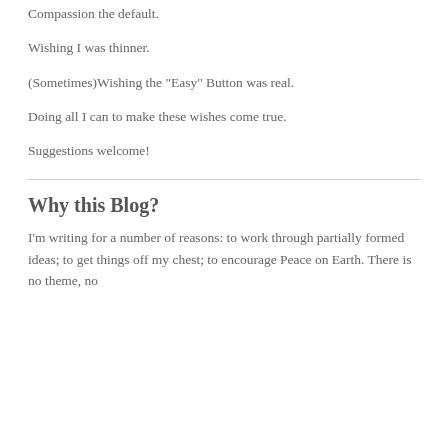Wishing for people to stop the mean and make Compassion the default.
Wishing I was thinner.
(Sometimes)Wishing the "Easy" Button was real.
Doing all I can to make these wishes come true.
Suggestions welcome!
Why this Blog?
I'm writing for a number of reasons: to work through partially formed ideas; to get things off my chest; to encourage Peace on Earth. There is no theme, no